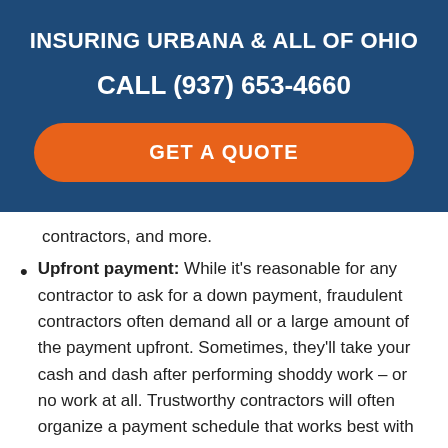INSURING URBANA & ALL OF OHIO
CALL (937) 653-4660
GET A QUOTE
contractors, and more.
Upfront payment: While it's reasonable for any contractor to ask for a down payment, fraudulent contractors often demand all or a large amount of the payment upfront. Sometimes, they'll take your cash and dash after performing shoddy work – or no work at all. Trustworthy contractors will often organize a payment schedule that works best with your